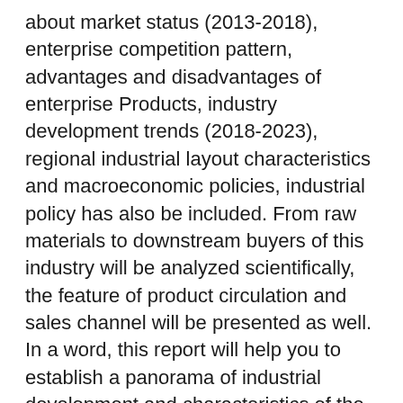about market status (2013-2018), enterprise competition pattern, advantages and disadvantages of enterprise Products, industry development trends (2018-2023), regional industrial layout characteristics and macroeconomic policies, industrial policy has also be included. From raw materials to downstream buyers of this industry will be analyzed scientifically, the feature of product circulation and sales channel will be presented as well. In a word, this report will help you to establish a panorama of industrial development and characteristics of the 3D Printing Polymer Materials market.
The 3D Printing Polymer Materials market can be split based on product types, major applications, and important regions.